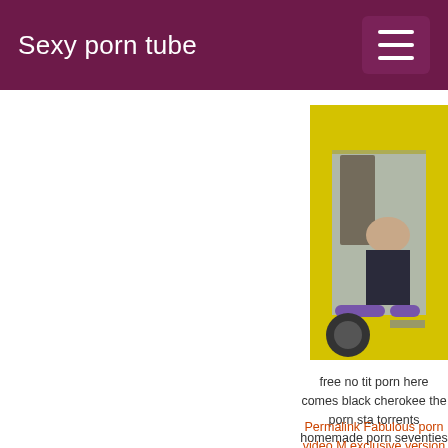Sexy porn tube
[Figure (photo): A yellow pedicab/rickshaw vehicle with a person sitting inside, on a road with pink/red pavement markings]
free no tit porn here comes black cherokee the porn sta torrents homemade porn seventies porn videos free po spanish
Permalink Fabulous porn video M exclusive version with Dee
[Figure (photo): Partial photo with 'evathegoddess' text and female symbol]